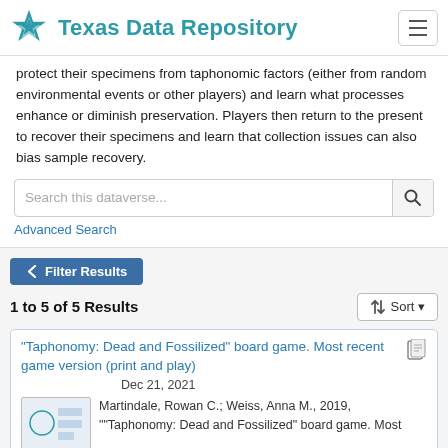Texas Data Repository
protect their specimens from taphonomic factors (either from random environmental events or other players) and learn what processes enhance or diminish preservation. Players then return to the present to recover their specimens and learn that collection issues can also bias sample recovery.
Search this dataverse...
Advanced Search
Filter Results
1 to 5 of 5 Results
Sort
"Taphonomy: Dead and Fossilized" board game. Most recent game version (print and play)
Dec 21, 2021
Martindale, Rowan C.; Weiss, Anna M., 2019, ""Taphonomy: Dead and Fossilized" board game. Most